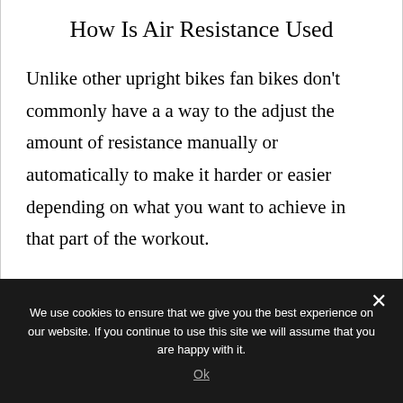How Is Air Resistance Used
Unlike other upright bikes fan bikes don't commonly have a a way to the adjust the amount of resistance manually or automatically to make it harder or easier depending on what you want to achieve in that part of the workout.
The resistance changes dependent on how fast you pedal and/or move your arms. This is what
We use cookies to ensure that we give you the best experience on our website. If you continue to use this site we will assume that you are happy with it.
Ok